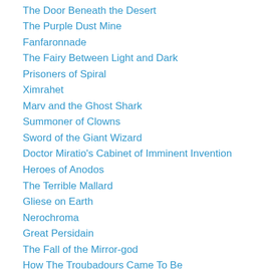The Door Beneath the Desert
The Purple Dust Mine
Fanfaronnade
The Fairy Between Light and Dark
Prisoners of Spiral
Ximrahet
Marv and the Ghost Shark
Summoner of Clowns
Sword of the Giant Wizard
Doctor Miratio's Cabinet of Imminent Invention
Heroes of Anodos
The Terrible Mallard
Gliese on Earth
Nerochroma
Great Persidain
The Fall of the Mirror-god
How The Troubadours Came To Be
Mynotragon
Chemoimagination
Tranenbloud Island